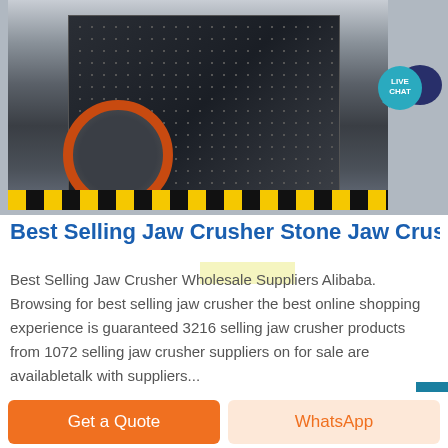[Figure (photo): Large industrial jaw crusher machine displayed in a factory/warehouse setting with heavy-duty black metal body, a prominent orange circular flywheel on the left side, set on a floor with yellow-black safety striping. Additional crushing equipment visible in the background.]
Best Selling Jaw Crusher Stone Jaw Crushe
Best Selling Jaw Crusher Wholesale Suppliers Alibaba. Browsing for best selling jaw crusher the best online shopping experience is guaranteed 3216 selling jaw crusher products from 1072 selling jaw crusher suppliers on for sale are availabletalk with suppliers...